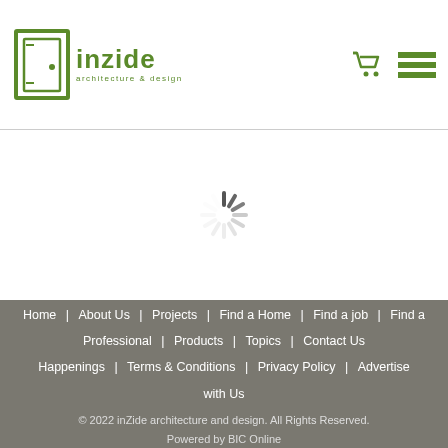inzide architecture & design — logo and navigation header
[Figure (illustration): Loading spinner (circular activity indicator) in the center of the content area]
Home | About Us | Projects | Find a Home | Find a job | Find a Professional | Products | Topics | Contact Us | Happenings | Terms & Conditions | Privacy Policy | Advertise with Us
© 2022 inZide architecture and design. All Rights Reserved.
Powered by BIC Online